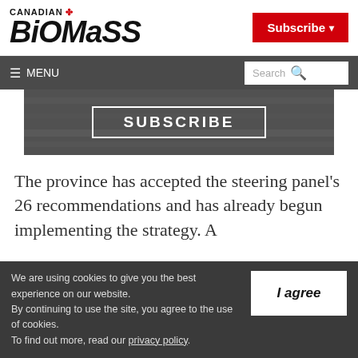CANADIAN BIOMASS
[Figure (screenshot): Canadian Biomass website header with logo and Subscribe button]
[Figure (screenshot): Subscribe banner over dark biomass image]
The province has accepted the steering panel's 26 recommendations and has already begun implementing the strategy. A
We are using cookies to give you the best experience on our website. By continuing to use the site, you agree to the use of cookies. To find out more, read our privacy policy.